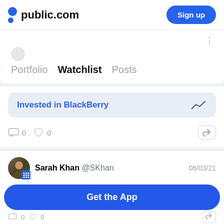public.com | Sign up
Portfolio  Watchlist  Posts
Invested in BlackBerry
0  0
Sarah Khan @SKhan  06/03/21
Invested in BlackBerry
Get the App